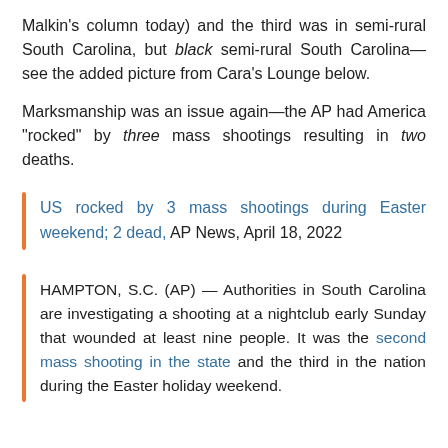Malkin's column today) and the third was in semi-rural South Carolina, but black semi-rural South Carolina—see the added picture from Cara's Lounge below.
Marksmanship was an issue again—the AP had America "rocked" by three mass shootings resulting in two deaths.
US rocked by 3 mass shootings during Easter weekend; 2 dead, AP News, April 18, 2022
HAMPTON, S.C. (AP) — Authorities in South Carolina are investigating a shooting at a nightclub early Sunday that wounded at least nine people. It was the second mass shooting in the state and the third in the nation during the Easter holiday weekend.